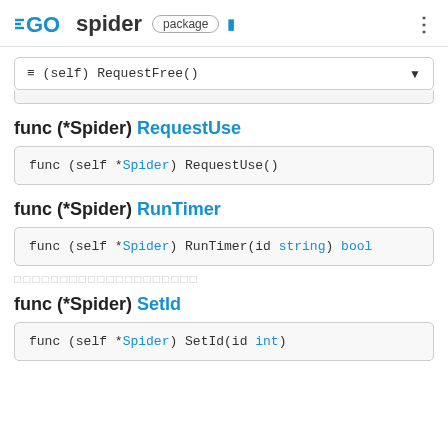GO spider package
≡ (self) RequestFree()
func (*Spider) RequestUse
func (self *Spider) RequestUse()
func (*Spider) RunTimer
func (self *Spider) RunTimer(id string) bool
□□□□□□□□□□□□□□□□□□□□
func (*Spider) SetId
func (self *Spider) SetId(id int)